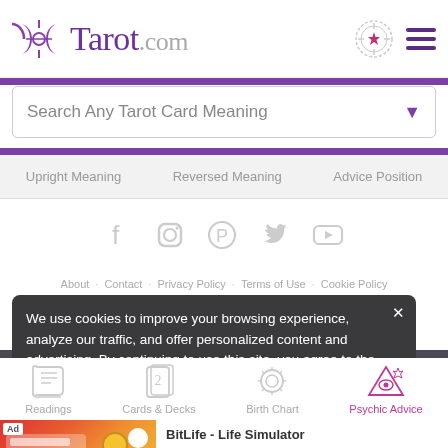Tarot.com
Search Any Tarot Card Meaning
Upright Meaning  Reversed Meaning  Advice Position
[Figure (other): Social media icons: Facebook, Instagram, Pinterest, Twitter, YouTube]
About · Contact · Privacy Policy · Terms of Use · Cookie Policy
We use cookies to improve your browsing experience, analyze our traffic, and offer personalized content and advertising. By continuing to use this site, you agree to the usage of cookies as outlined here, as well as our updated Privacy Policy and Terms of Use.
Part of Zappalila... 2022
[Figure (other): BitLife - Life Simulator advertisement banner]
BitLife - Life Simulator
Install!
[Figure (other): Bottom navigation icons: Readings, Cards & Decks, Birth Chart, Psychic Advice]